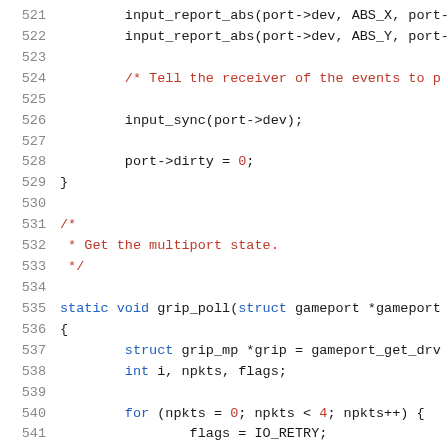Code listing lines 521-541, C source code snippet showing input reporting and grip_poll function
521    input_report_abs(port->dev, ABS_X, port-
522    input_report_abs(port->dev, ABS_Y, port-
523
524    /* Tell the receiver of the events to p
525
526    input_sync(port->dev);
527
528    port->dirty = 0;
529 }
530
531 /*
532  * Get the multiport state.
533  */
534
535 static void grip_poll(struct gameport *gameport
536 {
537    struct grip_mp *grip = gameport_get_drv
538    int i, npkts, flags;
539
540    for (npkts = 0; npkts < 4; npkts++) {
541        flags = IO_RETRY;